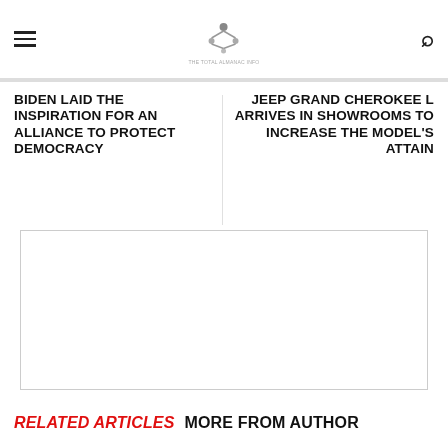[hamburger menu icon] [logo: molecule/network icon with tagline] [search icon]
BIDEN LAID THE INSPIRATION FOR AN ALLIANCE TO PROTECT DEMOCRACY
JEEP GRAND CHEROKEE L ARRIVES IN SHOWROOMS TO INCREASE THE MODEL'S ATTAIN
[Figure (other): Empty advertisement/image placeholder box with a thin grey border]
RELATED ARTICLES   MORE FROM AUTHOR